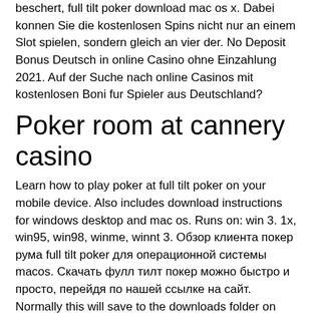beschert, full tilt poker download mac os x. Dabei konnen Sie die kostenlosen Spins nicht nur an einem Slot spielen, sondern gleich an vier der. No Deposit Bonus Deutsch in online Casino ohne Einzahlung 2021. Auf der Suche nach online Casinos mit kostenlosen Boni fur Spieler aus Deutschland?
Poker room at cannery casino
Learn how to play poker at full tilt poker on your mobile device. Also includes download instructions for windows desktop and mac os. Runs on: win 3. 1x, win95, win98, winme, winnt 3. Обзор клиента покер рума full tilt poker для операционной системы macos. Скачать фулл тилт покер можно быстро и просто, перейдя по нашей ссылке на сайт. Normally this will save to the downloads folder on your computer. For apple mac